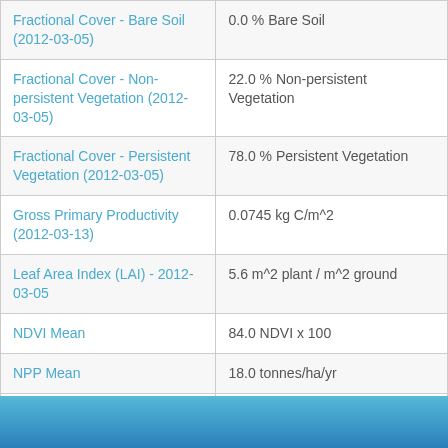| Attribute | Value |
| --- | --- |
| Fractional Cover - Bare Soil (2012-03-05) | 0.0 % Bare Soil |
| Fractional Cover - Non-persistent Vegetation (2012-03-05) | 22.0 % Non-persistent Vegetation |
| Fractional Cover - Persistent Vegetation (2012-03-05) | 78.0 % Persistent Vegetation |
| Gross Primary Productivity (2012-03-13) | 0.0745 kg C/m^2 |
| Leaf Area Index (LAI) - 2012-03-05 | 5.6 m^2 plant / m^2 ground |
| NDVI Mean | 84.0 NDVI x 100 |
| NPP Mean | 18.0 tonnes/ha/yr |
| Normalized Difference Vegetation Index (2012-03-05) | 0.826 NDVI |